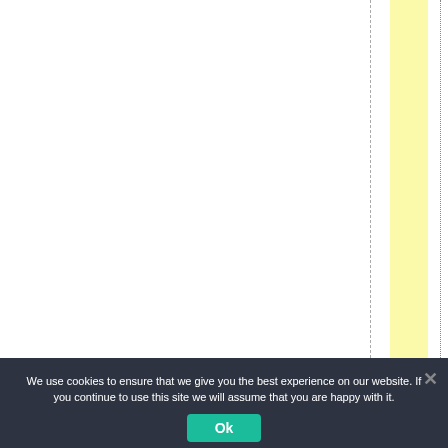y i n g t h e r e e f h a s f u l l
We use cookies to ensure that we give you the best experience on our website. If you continue to use this site we will assume that you are happy with it.
Ok